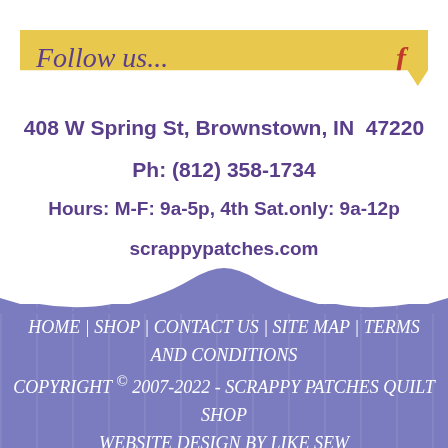Follow us...
408 W Spring St, Brownstown, IN  47220
Ph: (812) 358-1734
Hours: M-F: 9a-5p, 4th Sat.only: 9a-12p
scrappypatches.com
HOME | SHOP | CONTACT US | SITE MAP | TERMS AND CONDITIONS
COPYRIGHT © 2007-2022 - SCRAPPY PATCHES QUILT SHOP
WEBSITE DESIGN BY LIKE SEW